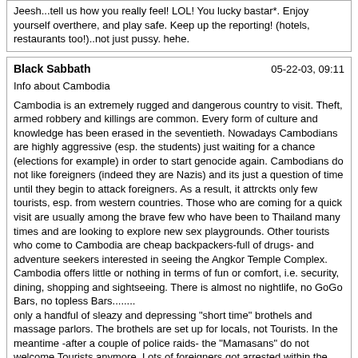Jeesh...tell us how you really feel! LOL! You lucky bastar*. Enjoy yourself overthere, and play safe. Keep up the reporting! (hotels, restaurants too!)..not just pussy. hehe.
Black Sabbath   05-22-03, 09:11
Info about Cambodia

Cambodia is an extremely rugged and dangerous country to visit. Theft, armed robbery and killings are common. Every form of culture and knowledge has been erased in the seventieth. Nowadays Cambodians are highly aggressive (esp. the students) just waiting for a chance (elections for example) in order to start genocide again. Cambodians do not like foreigners (indeed they are Nazis) and its just a question of time until they begin to attack foreigners. As a result, it attrckts only few tourists, esp. from western countries. Those who are coming for a quick visit are usually among the brave few who have been to Thailand many times and are looking to explore new sex playgrounds. Other tourists who come to Cambodia are cheap backpackers-full of drugs- and adventure seekers interested in seeing the Angkor Temple Complex.
Cambodia offers little or nothing in terms of fun or comfort, i.e. security, dining, shopping and sightseeing. There is almost no nightlife, no GoGo Bars, no topless Bars........
only a handful of sleazy and depressing "short time" brothels and massage parlors. The brothels are set up for locals, not Tourists. In the meantime -after a couple of police raids- the "Mamasans" do not welcome Tourists anymore. Lots of foreigners got arrested within the last year and girls were taken away from the brothels.
Most of you will find the place dusty, dirty and extremely boring and like the vast majority of male Tourists who came for sex, will find a 5 day trip too long. At the moment the political situation is instable and even Expats try to leave the country desperately. There is nothing left anymore.
The scene is primarily, with exception of Martinis Pub and Sharkeys Bar, brothel oriented and pimp controlled. The prostitutes are either Khmer girls or Vietnamese aged between 20 and 50 !!!! Khmer girls tend to be much darker skinned, with black and somewhat frizzy hair. Khmer girls are a bit like a biological wonder - 1.55 m tall with an ass of a 2 m tall american woman and they behave in bed just like a Valium 20.